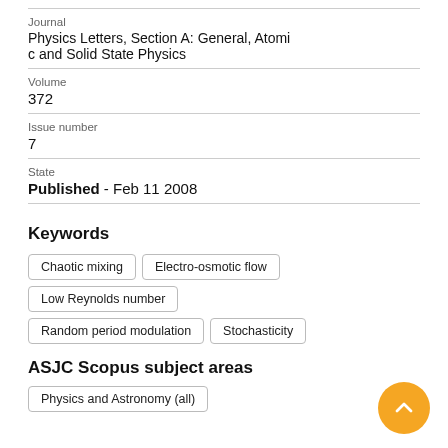Journal
Physics Letters, Section A: General, Atomic and Solid State Physics
Volume
372
Issue number
7
State
Published - Feb 11 2008
Keywords
Chaotic mixing
Electro-osmotic flow
Low Reynolds number
Random period modulation
Stochasticity
ASJC Scopus subject areas
Physics and Astronomy (all)